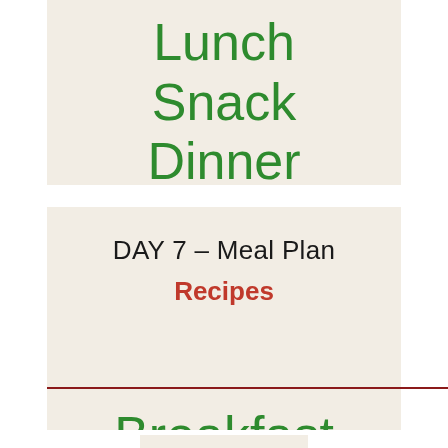Lunch
Snack
Dinner
DAY 7 – Meal Plan
Recipes
Breakfast